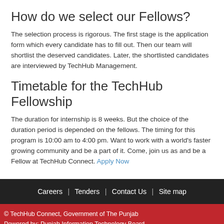How do we select our Fellows?
The selection process is rigorous. The first stage is the application form which every candidate has to fill out. Then our team will shortlist the deserved candidates. Later, the shortlisted candidates are interviewed by TechHub Management.
Timetable for the TechHub Fellowship
The duration for internship is 8 weeks. But the choice of the duration period is depended on the fellows. The timing for this program is 10:00 am to 4:00 pm. Want to work with a world's faster growing community and be a part of it. Come, join us as and be a Fellow at TechHub Connect. Apply Now
Careers | Tenders | Contact Us | Site map
© TechHub Connect, Government of The Punjab
Powered by: Punjab Information Technology Board